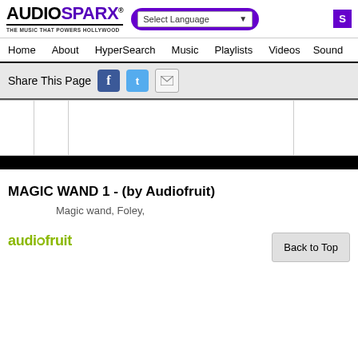[Figure (logo): AudioSparx logo with tagline THE MUSIC THAT POWERS HOLLYWOOD]
Select Language | S
Home  About  HyperSearch  Music  Playlists  Videos  Sound
Share This Page
[Figure (other): Player area with columns and controls]
MAGIC WAND 1 - (by Audiofruit)
Magic wand, Foley,
[Figure (logo): audiofruit logo in green]
Back to Top